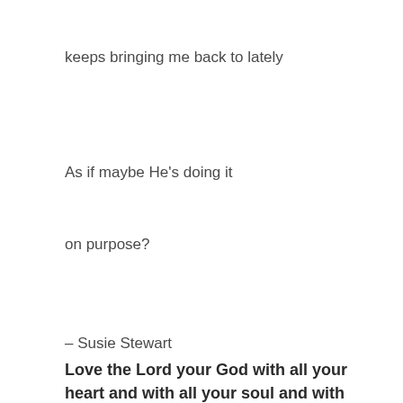keeps bringing me back to lately
As if maybe He’s doing it
on purpose?
– Susie Stewart
Love the Lord your God with all your heart and with all your soul and with all your strength and with all your